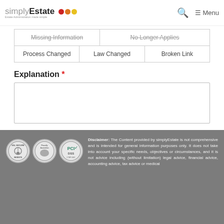simplyEstate — Estate Administration made simple | Menu
| Missing Information | No Longer Applies |
| Process Changed | Law Changed | Broken Link |
Explanation *
[textarea for explanation]
Submit
❮ Previous Step   Next Step ❯
Disclaimer: The Content provided by simplyEstate is not comprehensive and is intended for general information purposes only. It does not take into account your specific needs, objectives or circumstances, and it is not advice including (without limitation) legal advice, financial advice, accounting advice, tax advice or medical